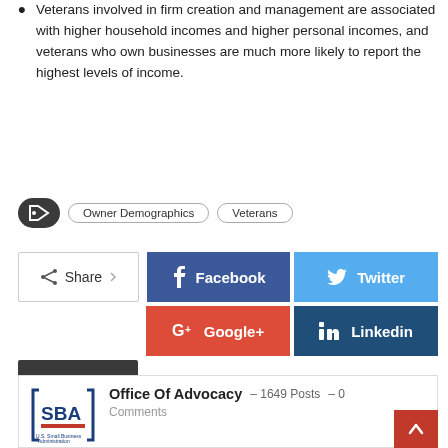Veterans involved in firm creation and management are associated with higher household incomes and higher personal incomes, and veterans who own businesses are much more likely to report the highest levels of income.
Owner Demographics  Veterans
[Figure (infographic): Social share buttons: Share, Facebook, Twitter, Google+, LinkedIn, Email]
[Figure (infographic): Author box with SBA (U.S. Small Business Administration) logo, Office Of Advocacy - 1649 Posts - 0 Comments]